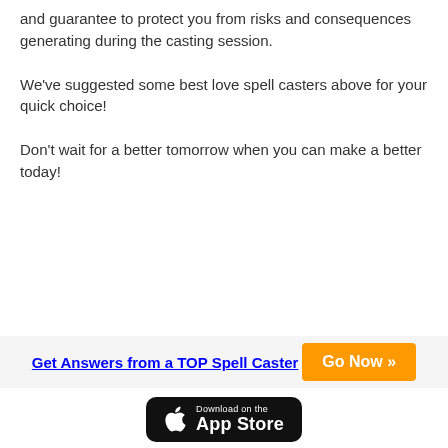and guarantee to protect you from risks and consequences generating during the casting session.
We've suggested some best love spell casters above for your quick choice!
Don't wait for a better tomorrow when you can make a better today!
Get Answers from a TOP Spell Caster   Go Now »
[Figure (logo): Download on the App Store button]